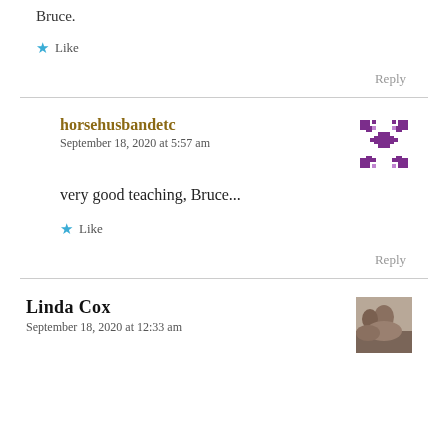Bruce.
★ Like
Reply
horsehusbandetc
September 18, 2020 at 5:57 am
very good teaching, Bruce...
★ Like
Reply
Linda Cox
September 18, 2020 at 12:33 am